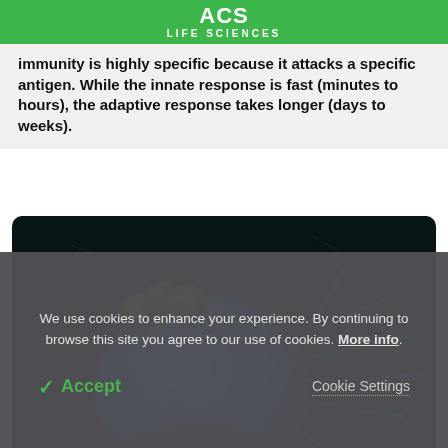ACS LIFE SCIENCES
immunity is highly specific because it attacks a specific antigen. While the innate response is fast (minutes to hours), the adaptive response takes longer (days to weeks).
[Figure (photo): 3D rendering of a blue immune cell (macrophage or dendritic cell) with green spherical particles attached and projecting tendrils, on a dark background.]
We use cookies to enhance your experience. By continuing to browse this site you agree to our use of cookies. More info.
✓ Accept
Cookie Settings